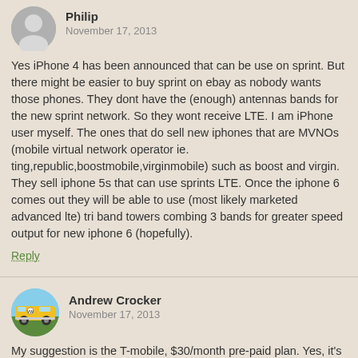Philip
November 17, 2013
Yes iPhone 4 has been announced that can be use on sprint. But there might be easier to buy sprint on ebay as nobody wants those phones. They dont have the (enough) antennas bands for the new sprint network. So they wont receive LTE. I am iPhone user myself. The ones that do sell new iphones that are MVNOs (mobile virtual network operator ie. ting,republic,boostmobile,virginmobile) such as boost and virgin. They sell iphone 5s that can use sprints LTE. Once the iphone 6 comes out they will be able to use (most likely marketed advanced lte) tri band towers combing 3 bands for greater speed output for new iphone 6 (hopefully).
Reply
Andrew Crocker
November 17, 2013
My suggestion is the T-mobile, $30/month pre-paid plan. Yes, it's $60 more per year than Republic's $25 plan (and a different balance of minutes/text/data) but you won't have to buy a new, $300 android phone.